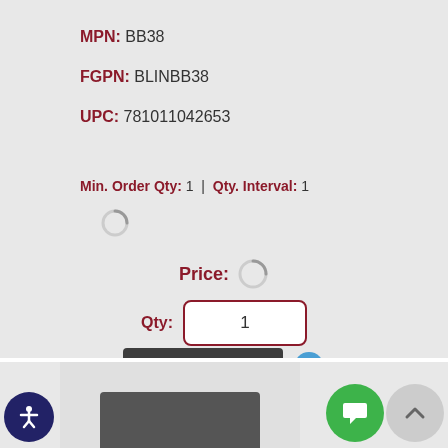MPN: BB38
FGPN: BLINBB38
UPC: 781011042653
Min. Order Qty: 1 | Qty. Interval: 1
Price:
Qty: 1
ADD TO CART